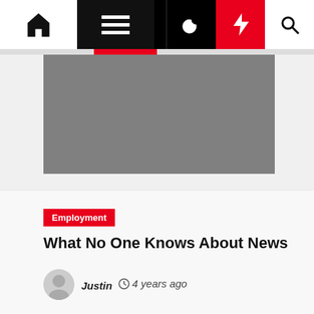Navigation bar with home, menu, moon, bolt, and search icons
[Figure (photo): Gray placeholder image at top of page]
Employment
What No One Knows About News
Justin  4 years ago
[Figure (photo): Gray placeholder image at bottom of page]